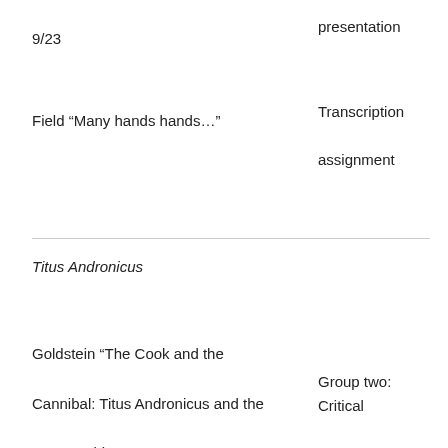9/23
presentation
Field “Many hands hands…”
Transcription assignment
Titus Andronicus
Goldstein “The Cook and the Cannibal: Titus Andronicus and the New World”
Group two: Critical commentary